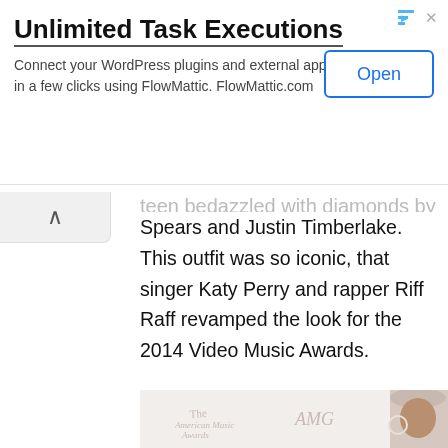[Figure (screenshot): Advertisement banner: 'Unlimited Task Executions' for FlowMattic WordPress plugin connector with an Open button]
teen bedazzled with diamonds by Britney Spears and Justin Timberlake. This outfit was so iconic, that singer Katy Perry and rapper Riff Raff revamped the look for the 2014 Video Music Awards.
[Figure (photo): Photo of a person (possibly a celebrity) wearing a white hat, taken at the American Music Awards red carpet backdrop]